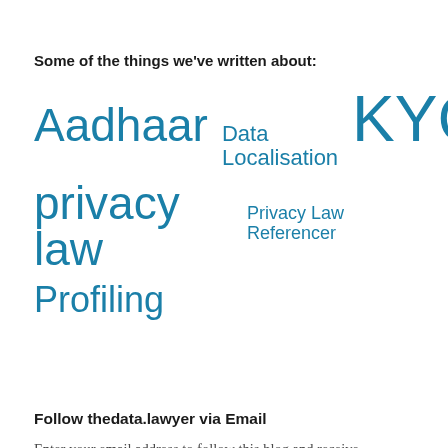Some of the things we've written about:
Aadhaar  Data Localisation  KYC  privacy law  Privacy Law Referencer  Profiling
Follow thedata.lawyer via Email
Enter your email address to follow this blog and receive notifications of new posts and other thedata.lawyer news by